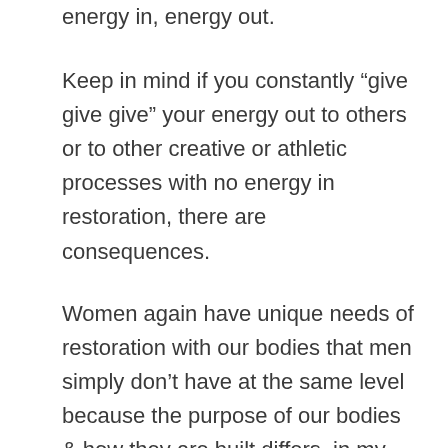energy in, energy out.
Keep in mind if you constantly “give give give” your energy out to others or to other creative or athletic processes with no energy in restoration, there are consequences.
Women again have unique needs of restoration with our bodies that men simply don’t have at the same level because the purpose of our bodies & how they are built differs, in my opinion.